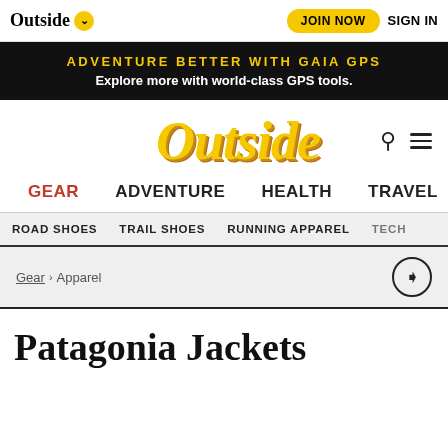Outside | JOIN NOW | SIGN IN
ADVENTURE BETTER WITH GAIA GPS
Explore more with world-class GPS tools.
[Figure (logo): Outside magazine logo in large yellow serif font]
GEAR  ADVENTURE  HEALTH  TRAVEL
ROAD SHOES  TRAIL SHOES  RUNNING APPAREL  TECH
Gear › Apparel
Patagonia Jackets